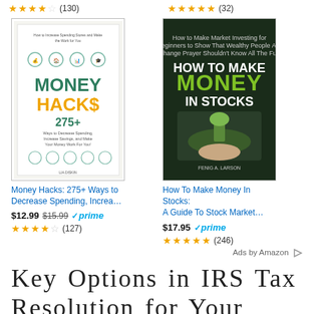[Figure (other): Star rating 3.5 out of 5 with (130) reviews]
[Figure (other): Star rating 4.5 out of 5 with (32) reviews]
[Figure (photo): Book cover: Money Hacks 275+]
[Figure (photo): Book cover: How To Make Money In Stocks]
Money Hacks: 275+ Ways to Decrease Spending, Increa…
How To Make Money In Stocks: A Guide To Stock Market…
$12.99 $15.99 ✓prime
$17.95 ✓prime
[Figure (other): Star rating 4 out of 5 with (127) reviews]
[Figure (other): Star rating 4.5 out of 5 with (246) reviews]
Ads by Amazon
Key Options in IRS Tax Resolution for Your Business
[Figure (other): Social share buttons: Twitter, Pinterest, Facebook, 0 SHARES]